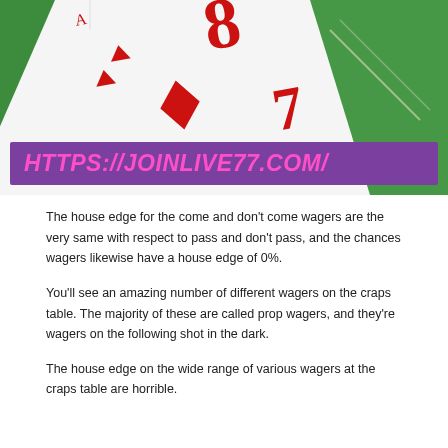[Figure (photo): Close-up photo of playing cards (showing red suit symbols and numbers 8 and 7) on a green felt craps/casino table surface, with an overlaid purple banner showing the URL HTTPS://JOINLIVE77.COM/ in pink text.]
The house edge for the come and don't come wagers are the very same with respect to pass and don't pass, and the chances wagers likewise have a house edge of 0%.
You'll see an amazing number of different wagers on the craps table. The majority of these are called prop wagers, and they're wagers on the following shot in the dark.
The house edge on the wide range of various wagers at the craps table are horrible.